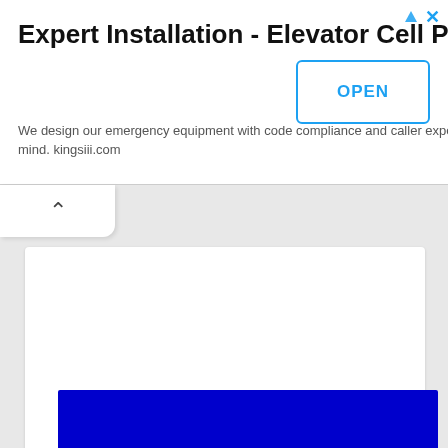[Figure (screenshot): Advertisement banner for 'Expert Installation - Elevator Cell Phone' by kingsiii.com with an OPEN button, followed by a collapsed UI tab with chevron, a white content panel, and a dark blue banner at the bottom.]
Expert Installation - Elevator Cell Phone
We design our emergency equipment with code compliance and caller experience in mind. kingsiii.com